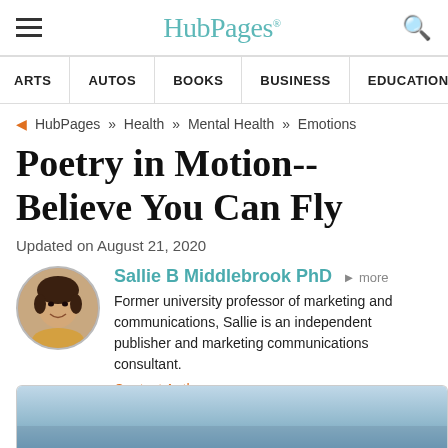HubPages
ARTS | AUTOS | BOOKS | BUSINESS | EDUCATION | ENTERTA…
HubPages » Health » Mental Health » Emotions
Poetry in Motion--Believe You Can Fly
Updated on August 21, 2020
Sallie B Middlebrook PhD ▶ more
Former university professor of marketing and communications, Sallie is an independent publisher and marketing communications consultant.
Contact Author
[Figure (photo): Author profile photo of Sallie B Middlebrook PhD, circular crop, showing a woman smiling]
[Figure (photo): Bottom partial image strip, appears to be a sky or outdoor scene, blue-grey tones]